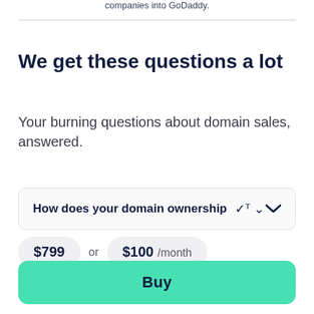companies into GoDaddy.
We get these questions a lot
Your burning questions about domain sales, answered.
How does your domain ownership
$799 or $100 /month
Buy